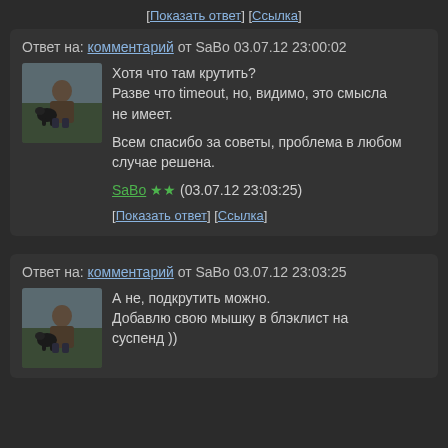[Показать ответ] [Ссылка]
Ответ на: комментарий от SaBo 03.07.12 23:00:02
[Figure (photo): User avatar photo showing a person sitting with a dog outdoors]
Хотя что там крутить?
Разве что timeout, но, видимо, это смысла не имеет.

Всем спасибо за советы, проблема в любом случае решена.
SaBo ★★ (03.07.12 23:03:25)
[Показать ответ] [Ссылка]
Ответ на: комментарий от SaBo 03.07.12 23:03:25
[Figure (photo): User avatar photo showing a person sitting with a dog outdoors]
А не, подкрутить можно.
Добавлю свою мышку в блэклист на суспенд ))